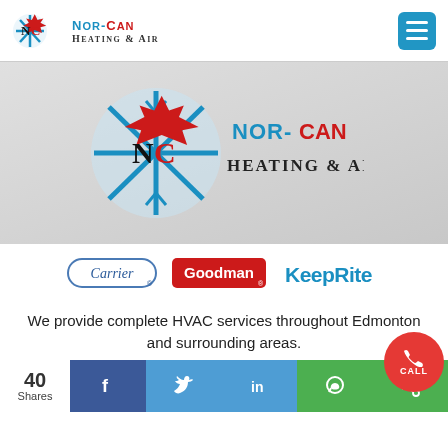[Figure (logo): Nor-Can Heating & Air logo in header (small version) with snowflake and maple leaf icon]
[Figure (logo): Menu hamburger icon button (blue)]
[Figure (logo): Large Nor-Can Heating & Air logo centered on grey background]
[Figure (logo): Carrier brand logo (oval outline with italic text)]
[Figure (logo): Goodman brand logo (red rounded rectangle with white text)]
[Figure (logo): KeepRite brand logo (blue stylized text)]
We provide complete HVAC services throughout Edmonton and surrounding areas.
40 Shares
[Figure (infographic): Social sharing bar with Facebook, Twitter, LinkedIn, WhatsApp, Share icons, and a red Call button]